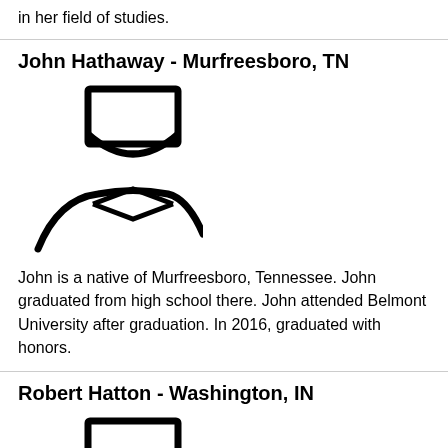in her field of studies.
John Hathaway - Murfreesboro, TN
[Figure (illustration): Generic user/person avatar icon in outline style - head and shoulders silhouette]
John is a native of Murfreesboro, Tennessee. John graduated from high school there. John attended Belmont University after graduation. In 2016, graduated with honors.
Robert Hatton - Washington, IN
[Figure (illustration): Generic user/person avatar icon in outline style - head and shoulders silhouette]
Robert is a high school graduate from Washington, Indiana. Belmont University was next stop after graduation. As of 2017, has